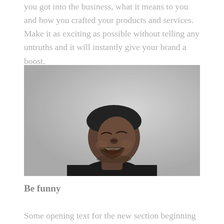you got into the business, what it means to you and how you crafted your products and services. Make it as exciting as possible without telling any untruths and it will instantly give your brand a boost.
[Figure (photo): Black and white portrait photograph of a young man laughing enthusiastically with his head tilted back, wearing a black t-shirt, against a light grey background.]
Be funny
Some opening text for the new section beginning here.